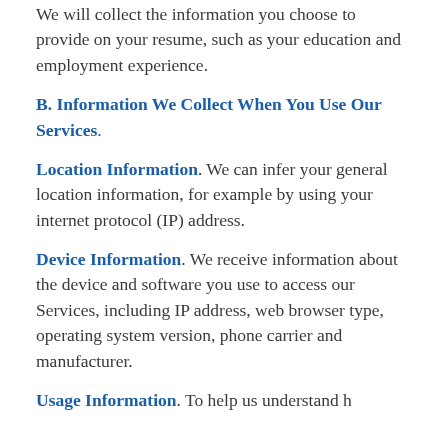We will collect the information you choose to provide on your resume, such as your education and employment experience.
B. Information We Collect When You Use Our Services.
Location Information. We can infer your general location information, for example by using your internet protocol (IP) address.
Device Information. We receive information about the device and software you use to access our Services, including IP address, web browser type, operating system version, phone carrier and manufacturer.
Usage Information. To help us understand how you use our Services, to help...